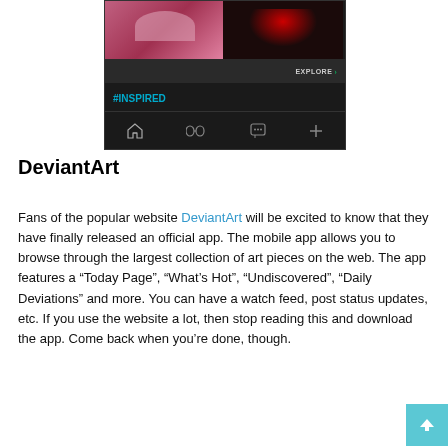[Figure (screenshot): Screenshot of the DeviantArt mobile app showing artwork images, an EXPLORE button, #INSPIRED tag, and navigation bar icons]
DeviantArt
Fans of the popular website DeviantArt will be excited to know that they have finally released an official app. The mobile app allows you to browse through the largest collection of art pieces on the web. The app features a “Today Page”, “What’s Hot”, “Undiscovered”, “Daily Deviations” and more. You can have a watch feed, post status updates, etc. If you use the website a lot, then stop reading this and download the app. Come back when you’re done, though.